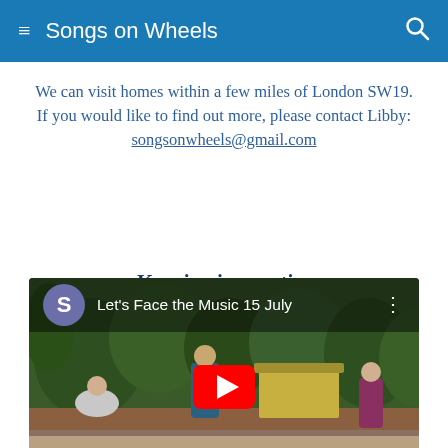Songs on Wheels
We can visit homes within a few miles of London SW19.
If you would like to find out more, please contact Libby: songsonwheels@gmail.com
Keeping in practise
[Figure (screenshot): YouTube video thumbnail showing people singing outdoors in a garden, titled 'Let's Face the Music 15 July']